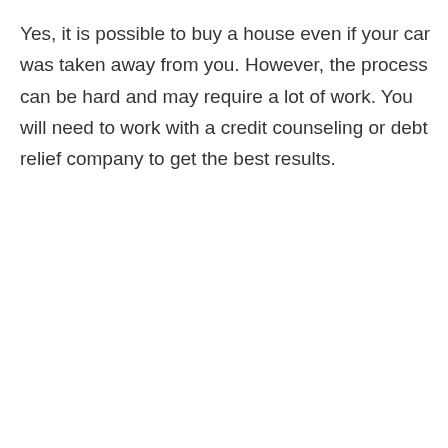Yes, it is possible to buy a house even if your car was taken away from you. However, the process can be hard and may require a lot of work. You will need to work with a credit counseling or debt relief company to get the best results.